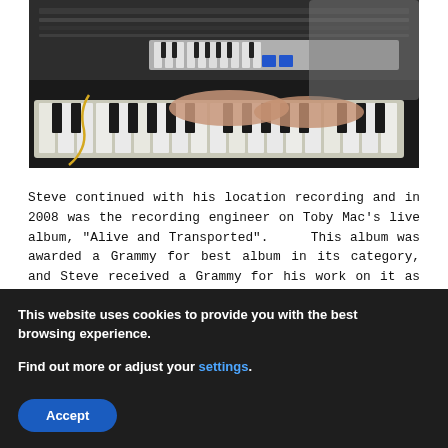[Figure (photo): Person playing a keyboard/synthesizer in a recording studio, with mixing console and other equipment visible in the background.]
Steve continued with his location recording and in 2008 was the recording engineer on Toby Mac's live album, "Alive and Transported".  This album was awarded a Grammy for best album in its category, and Steve received a Grammy for his work on it as well. Also that year Steve was the recording engineer on another live album by Casting Crowns "Alter and The Door Live".  That album was nominated for a Grammy
This website uses cookies to provide you with the best browsing experience.
Find out more or adjust your settings.